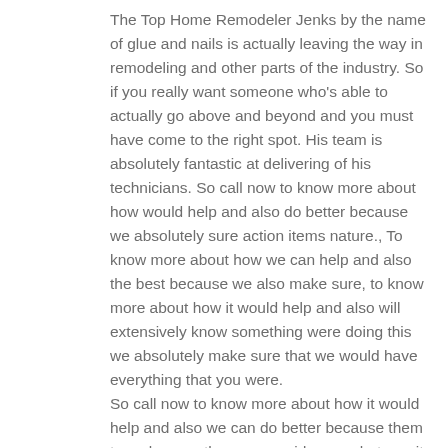The Top Home Remodeler Jenks by the name of glue and nails is actually leaving the way in remodeling and other parts of the industry. So if you really want someone who's able to actually go above and beyond and you must have come to the right spot. His team is absolutely fantastic at delivering of his technicians. So call now to know more about how would help and also do better because we absolutely sure action items nature., To know more about how we can help and also the best because we also make sure, to know more about how it would help and also will extensively know something were doing this we absolutely make sure that we would have everything that you were.
So call now to know more about how it would help and also we can do better because them to make sure they are provide you whatever it is you're looking for. So, to know more about how we can help and also were able to better because be obscene